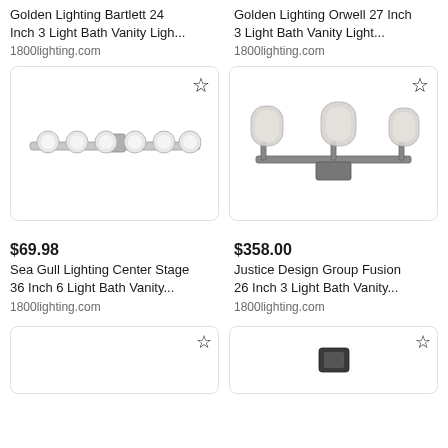Golden Lighting Bartlett 24 Inch 3 Light Bath Vanity Ligh...
1800lighting.com
Golden Lighting Orwell 27 Inch 3 Light Bath Vanity Light...
1800lighting.com
[Figure (photo): Sea Gull Lighting Center Stage 36 Inch 6 Light Bath Vanity bar with multiple globe bulbs on a horizontal chrome bar]
[Figure (photo): Justice Design Group Fusion 26 Inch 3 Light Bath Vanity with frosted cylindrical glass shades on chrome fixture]
$69.98
Sea Gull Lighting Center Stage 36 Inch 6 Light Bath Vanity...
1800lighting.com
$358.00
Justice Design Group Fusion 26 Inch 3 Light Bath Vanity...
1800lighting.com
[Figure (photo): Partial view of another bath vanity light product card]
[Figure (photo): Partial view of another bath vanity light product card with dark fixture]